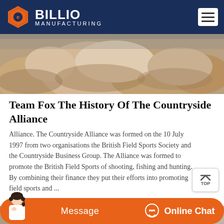BILLIO MANUFACTURING
[Figure (photo): Photograph of large rocks/boulders in a quarry or industrial setting]
Team Fox The History Of The Countryside Alliance
Alliance. The Countryside Alliance was formed on the 10 July 1997 from two organisations the British Field Sports Society and the Countryside Business Group. The Alliance was formed to promote the British Field Sports of shooting, fishing and hunting. By combining their finance they put their efforts into promoting field sports and ...
[Figure (photo): Second photograph showing rocky/stone textured surface]